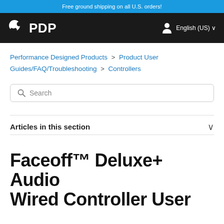Free ground shipping on all U.S. orders!
[Figure (logo): PDP logo (Performance Designed Products) with user icon and English (US) language selector on dark navigation bar]
Performance Designed Products > Product User Guides/FAQ/Troubleshooting > Controllers
Search
Articles in this section
Faceoff™ Deluxe+ Audio Wired Controller User